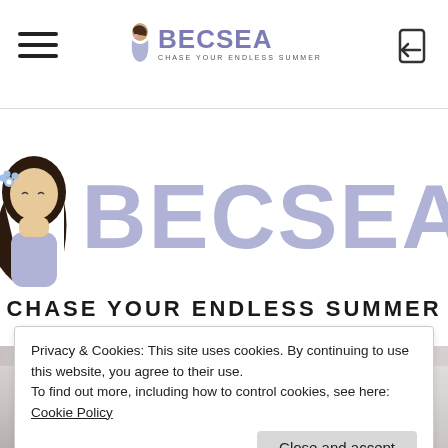BECSEA — CHASE YOUR ENDLESS SUMMER (header with hamburger menu and login icon)
[Figure (logo): BECSEA logo — illustrated woman with flower in hair beside large lavender BECSEA text and tagline CHASE YOUR ENDLESS SUMMER]
[Figure (photo): Blurred interior retail/shopping environment background photo]
Privacy & Cookies: This site uses cookies. By continuing to use this website, you agree to their use.
To find out more, including how to control cookies, see here:
Cookie Policy
Close and accept